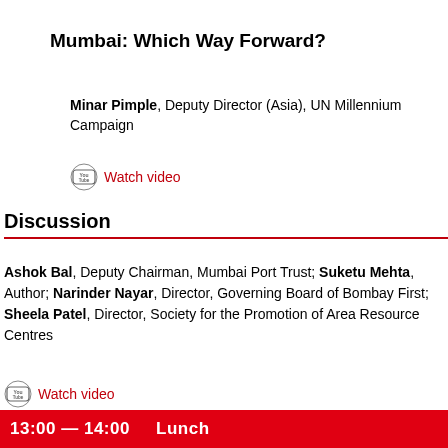Mumbai: Which Way Forward?
Minar Pimple, Deputy Director (Asia), UN Millennium Campaign
Watch video
Discussion
Ashok Bal, Deputy Chairman, Mumbai Port Trust; Suketu Mehta, Author; Narinder Nayar, Director, Governing Board of Bombay First; Sheela Patel, Director, Society for the Promotion of Area Resource Centres
Watch video
13:00 — 14:00    Lunch